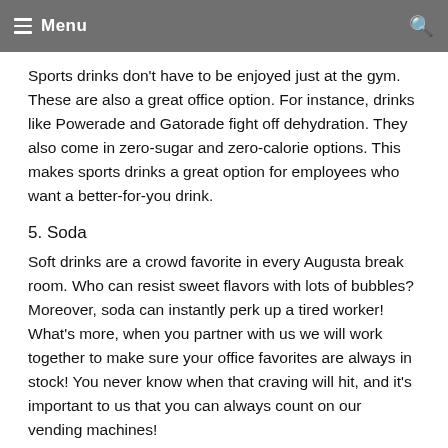Menu
Sports drinks don't have to be enjoyed just at the gym. These are also a great office option. For instance, drinks like Powerade and Gatorade fight off dehydration. They also come in zero-sugar and zero-calorie options. This makes sports drinks a great option for employees who want a better-for-you drink.
5. Soda
Soft drinks are a crowd favorite in every Augusta break room. Who can resist sweet flavors with lots of bubbles? Moreover, soda can instantly perk up a tired worker! What's more, when you partner with us we will work together to make sure your office favorites are always in stock! You never know when that craving will hit, and it's important to us that you can always count on our vending machines!
6. Augusta Healthy Refreshing Drinks